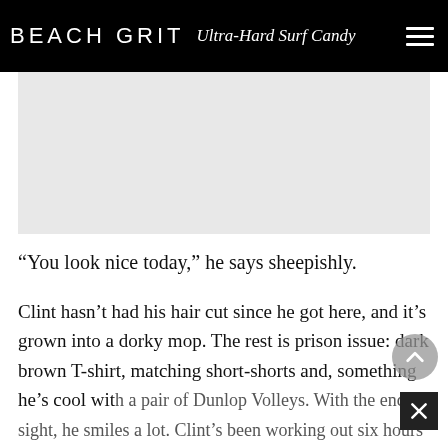BEACH GRIT Ultra-Hard Surf Candy
[Figure (other): Gray advertisement placeholder block]
“You look nice today,” he says sheepishly.
Clint hasn’t had his hair cut since he got here, and it’s grown into a dorky mop. The rest is prison issue: dark brown T-shirt, matching short-shorts and, something he’s cool with a pair of Dunlop Volleys. With the end in sight, he smiles a lot. Clint’s been working out six hours a day, and he’s buff. We sit, and he points to the punching bag hanging about 100